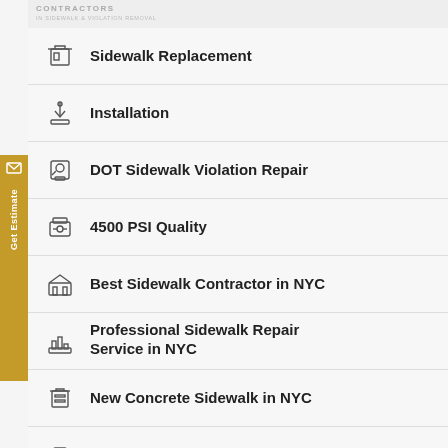CONTRACTORS IN SIDEWALK & VIOLATION REMOVAL
Sidewalk Replacement
Installation
DOT Sidewalk Violation Repair
4500 PSI Quality
Best Sidewalk Contractor in NYC
Professional Sidewalk Repair Service in NYC
New Concrete Sidewalk in NYC
Sidewalk Patchwork Service in